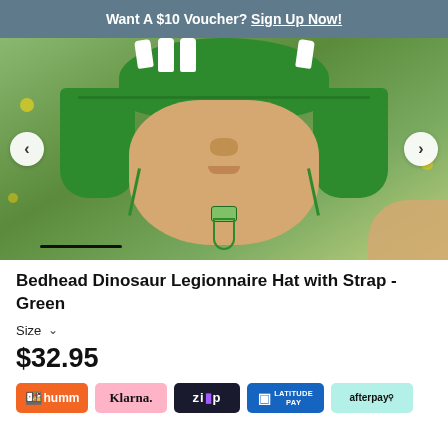Want A $10 Voucher? Sign Up Now!
[Figure (photo): Baby/toddler wearing a green dinosaur legionnaire hat with chin strap, photographed outdoors with green foliage in background]
Bedhead Dinosaur Legionnaire Hat with Strap - Green
Size
$32.95
[Figure (logo): Payment method logos: humm, Klarna, Zip, Latitude Pay, Afterpay]